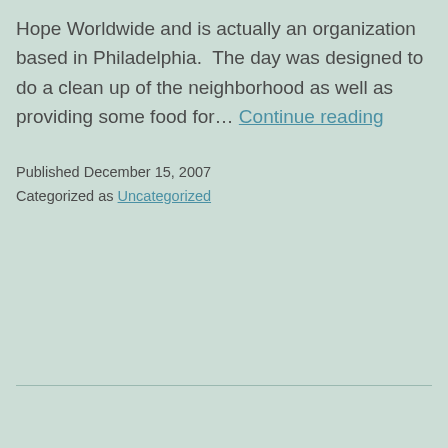Hope Worldwide and is actually an organization based in Philadelphia.  The day was designed to do a clean up of the neighborhood as well as providing some food for… Continue reading
Published December 15, 2007
Categorized as Uncategorized